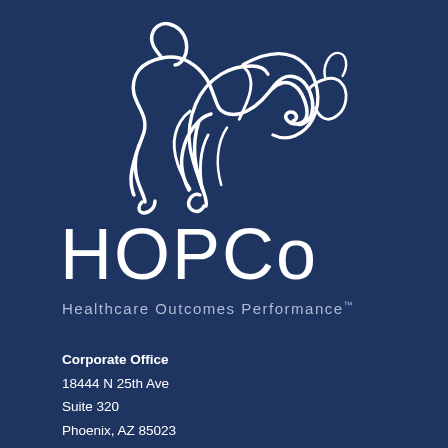[Figure (logo): HOPCo kangaroo logo — white line-art silhouette of a leaping kangaroo on dark navy background]
HOPCo
Healthcare Outcomes Performance™
Corporate Office
18444 N 25th Ave
Suite 320
Phoenix, AZ 85023
623.241.8618